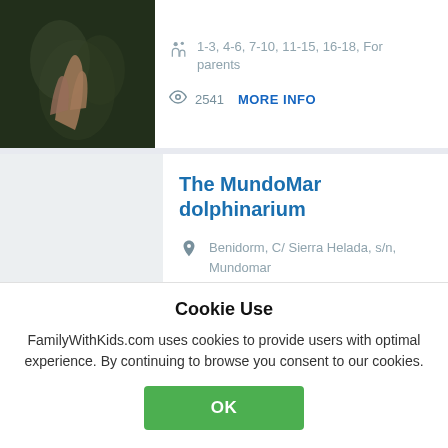[Figure (photo): Photo of hands in dark green foliage background]
1-3, 4-6, 7-10, 11-15, 16-18, For parents
2541  MORE INFO
[Figure (photo): Gray placeholder with FamilyWithKids watermark]
The MundoMar dolphinarium
Benidorm, C/ Sierra Helada, s/n, Mundomar
+34 965 86 9 ...
Cookie Use
FamilyWithKids.com uses cookies to provide users with optimal experience. By continuing to browse you consent to our cookies.
OK